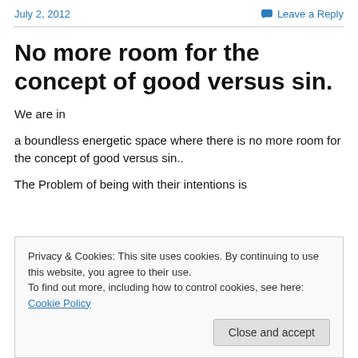July 2, 2012   Leave a Reply
No more room for the concept of good versus sin.
We are in
a boundless energetic space where there is no more room for the concept of good versus sin..
The Problem of being with their intentions is
Privacy & Cookies: This site uses cookies. By continuing to use this website, you agree to their use.
To find out more, including how to control cookies, see here: Cookie Policy
it is tiime lovely souls,  to rise,  rise,  rise